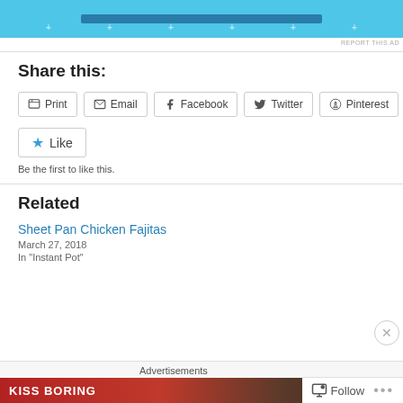[Figure (screenshot): Advertisement banner with light blue background, a dark blue bar in center, and small plus/dot decorations along the bottom]
REPORT THIS AD
Share this:
Print   Email   Facebook   Twitter   Pinterest
Like
Be the first to like this.
Related
Sheet Pan Chicken Fajitas
March 27, 2018
In "Instant Pot"
[Figure (screenshot): Advertisement strip at bottom: 'Advertisements' label, then KISS BORING banner with SHOP NOW button]
Follow   ...